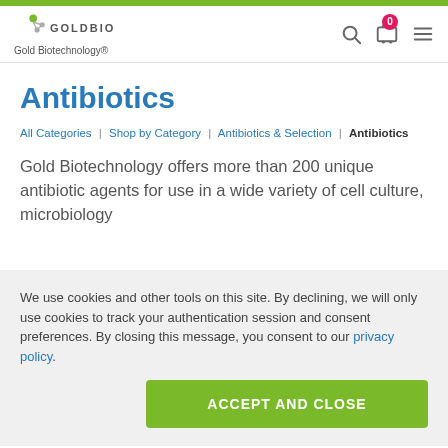GOLDBIO Gold Biotechnology®
Antibiotics
All Categories | Shop by Category | Antibiotics & Selection | Antibiotics
Gold Biotechnology offers more than 200 unique antibiotic agents for use in a wide variety of cell culture, microbiology
We use cookies and other tools on this site. By declining, we will only use cookies to track your authentication session and consent preferences. By closing this message, you consent to our privacy policy.
ACCEPT AND CLOSE